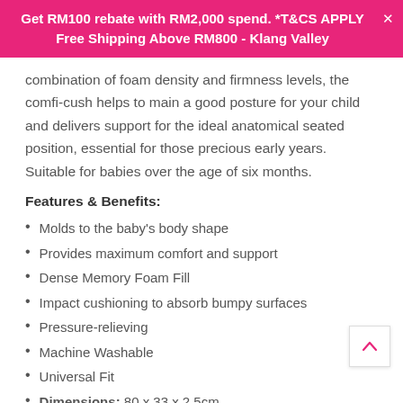Get RM100 rebate with RM2,000 spend. *T&CS APPLY
Free Shipping Above RM800 - Klang Valley
combination of foam density and firmness levels, the comfi-cush helps to main a good posture for your child and delivers support for the ideal anatomical seated position, essential for those precious early years. Suitable for babies over the age of six months.
Features & Benefits:
Molds to the baby's body shape
Provides maximum comfort and support
Dense Memory Foam Fill
Impact cushioning to absorb bumpy surfaces
Pressure-relieving
Machine Washable
Universal Fit
Dimensions: 80 x 33 x 2.5cm